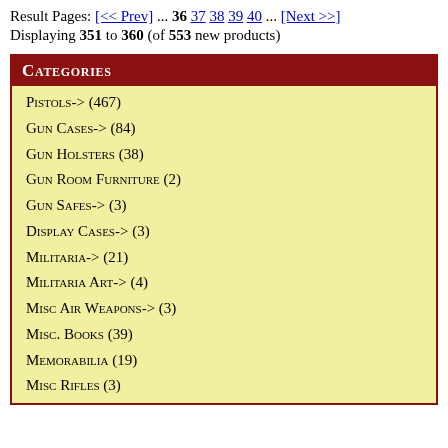Result Pages: [<< Prev] ... 36 37 38 39 40 ... [Next >>]
Displaying 351 to 360 (of 553 new products)
Categories
Pistols-> (467)
Gun Cases-> (84)
Gun Holsters (38)
Gun Room Furniture (2)
Gun Safes-> (3)
Display Cases-> (3)
Militaria-> (21)
Militaria Art-> (4)
Misc Air Weapons-> (3)
Misc. Books (39)
Memorabilia (19)
Misc Rifles (3)